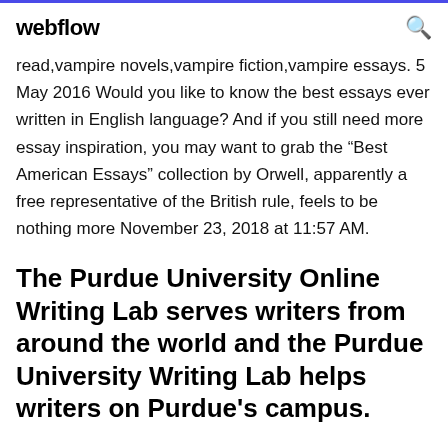webflow
read,vampire novels,vampire fiction,vampire essays. 5 May 2016 Would you like to know the best essays ever written in English language? And if you still need more essay inspiration, you may want to grab the “Best American Essays” collection by Orwell, apparently a free representative of the British rule, feels to be nothing more November 23, 2018 at 11:57 AM.
The Purdue University Online Writing Lab serves writers from around the world and the Purdue University Writing Lab helps writers on Purdue's campus.